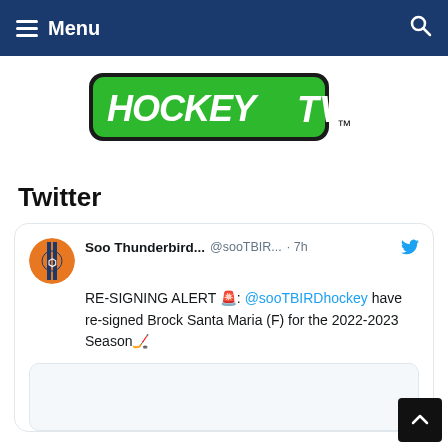Menu
[Figure (logo): HockeyTV logo — green shield shape with 'HOCKEY TV' text in white/black and TM mark]
Twitter
Soo Thunderbird... @sooTBIR... · 7h — RE-SIGNING ALERT 🚨: @sooTBIRDhockey have re-signed Brock Santa Maria (F) for the 2022-2023 Season🏒